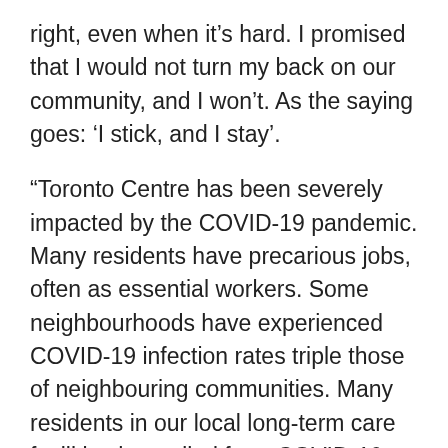right, even when it's hard. I promised that I would not turn my back on our community, and I won't. As the saying goes: ‘I stick, and I stay’.
“Toronto Centre has been severely impacted by the COVID-19 pandemic. Many residents have precarious jobs, often as essential workers. Some neighbourhoods have experienced COVID-19 infection rates triple those of neighbouring communities. Many residents in our local long-term care facilities have died from COVID-19. Opioid deaths have spiked in Toronto, and our community is among the most affected.”